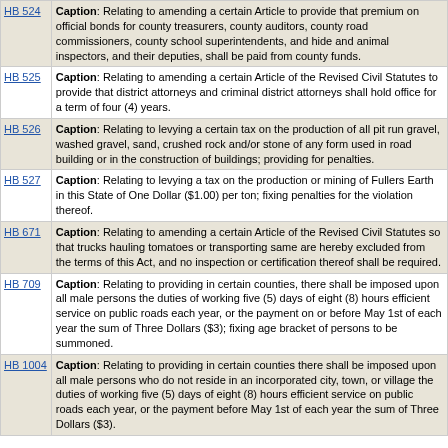HB 524 — Caption: Relating to amending a certain Article to provide that premium on official bonds for county treasurers, county auditors, county road commissioners, county school superintendents, and hide and animal inspectors, and their deputies, shall be paid from county funds.
HB 525 — Caption: Relating to amending a certain Article of the Revised Civil Statutes to provide that district attorneys and criminal district attorneys shall hold office for a term of four (4) years.
HB 526 — Caption: Relating to levying a certain tax on the production of all pit run gravel, washed gravel, sand, crushed rock and/or stone of any form used in road building or in the construction of buildings; providing for penalties.
HB 527 — Caption: Relating to levying a tax on the production or mining of Fullers Earth in this State of One Dollar ($1.00) per ton; fixing penalties for the violation thereof.
HB 671 — Caption: Relating to amending a certain Article of the Revised Civil Statutes so that trucks hauling tomatoes or transporting same are hereby excluded from the terms of this Act, and no inspection or certification thereof shall be required.
HB 709 — Caption: Relating to providing in certain counties, there shall be imposed upon all male persons the duties of working five (5) days of eight (8) hours efficient service on public roads each year, or the payment on or before May 1st of each year the sum of Three Dollars ($3); fixing age bracket of persons to be summoned.
HB 1004 — Caption: Relating to providing in certain counties there shall be imposed upon all male persons who do not reside in an incorporated city, town, or village the duties of working five (5) days of eight (8) hours efficient service on public roads each year, or the payment before May 1st of each year the sum of Three Dollars ($3).